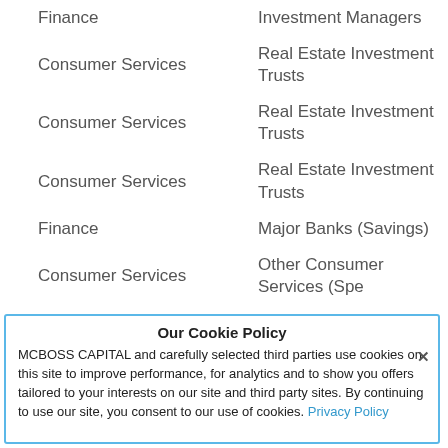| Sector | Industry |
| --- | --- |
| Finance | Investment Managers |
| Consumer Services | Real Estate Investment Trusts |
| Consumer Services | Real Estate Investment Trusts |
| Consumer Services | Real Estate Investment Trusts |
| Finance | Major Banks (Savings) |
| Consumer Services | Other Consumer Services (Spe... |
| Finance | Life Insurance |
| Finance | Property-Casualty Insurers |
| Finance | Real Estate |
Our Cookie Policy
MCBOSS CAPITAL and carefully selected third parties use cookies on this site to improve performance, for analytics and to show you offers tailored to your interests on our site and third party sites. By continuing to use our site, you consent to our use of cookies. Privacy Policy